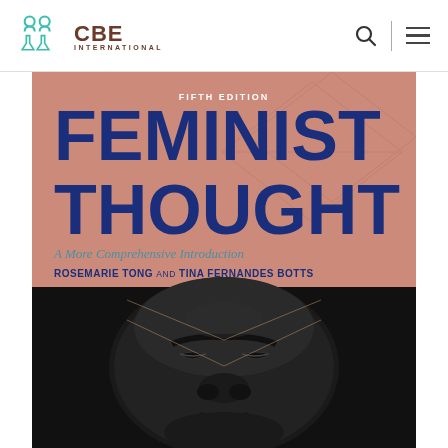[Figure (logo): CBE International logo with teal infinity/figure symbols and brown CBE text with INTERNATIONAL subtitle]
[Figure (photo): Book cover of 'Feminist Thought: A More Comprehensive Introduction, Fifth Edition' by Rosemarie Tong and Tina Fernandes Botts. Salmon/terracotta background with geometric line patterns, large navy blue bold title text, teal subtitle, and a close-up photograph of a dark sculptural African mask face in the lower half.]